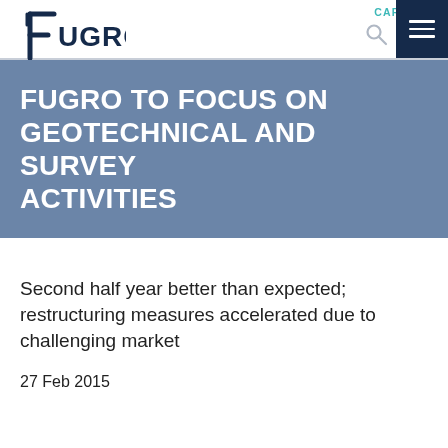CAREERS
[Figure (logo): Fugro company logo — stylized 'f' with crossbar followed by 'UGRO' in dark navy, all-caps]
FUGRO TO FOCUS ON GEOTECHNICAL AND SURVEY ACTIVITIES
Second half year better than expected; restructuring measures accelerated due to challenging market
27 Feb 2015